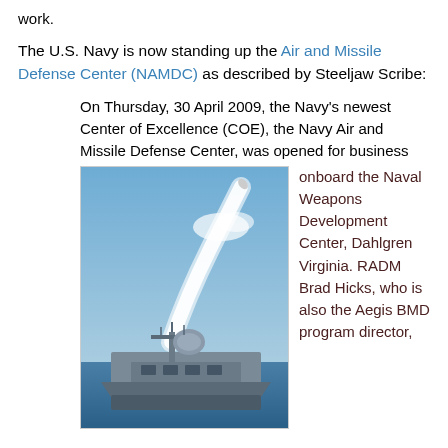work.
The U.S. Navy is now standing up the Air and Missile Defense Center (NAMDC) as described by Steeljaw Scribe:
On Thursday, 30 April 2009, the Navy's newest Center of Excellence (COE), the Navy Air and Missile Defense Center, was opened for business onboard the Naval Weapons Development Center, Dahlgren Virginia. RADM Brad Hicks, who is also the Aegis BMD program director,
[Figure (photo): A missile launching from a naval warship at sea, with a white smoke trail ascending steeply into a blue sky.]